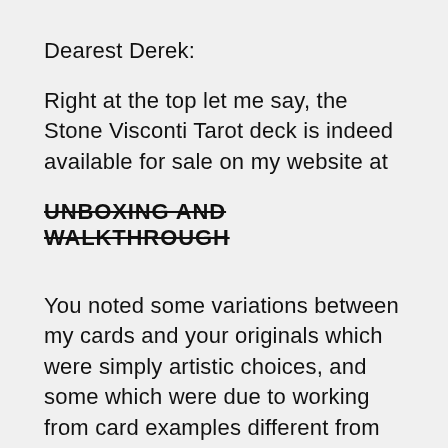Dearest Derek:
Right at the top let me say, the Stone Visconti Tarot deck is indeed available for sale on my website at
UNBOXING AND WALKTHROUGH
You noted some variations between my cards and your originals which were simply artistic choices, and some which were due to working from card examples different from your deck. Some, however, were just plain mistakes, and you are so very